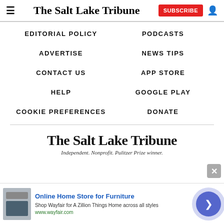The Salt Lake Tribune — SUBSCRIBE
EDITORIAL POLICY
PODCASTS
ADVERTISE
NEWS TIPS
CONTACT US
APP STORE
HELP
GOOGLE PLAY
COOKIE PREFERENCES
DONATE
[Figure (logo): The Salt Lake Tribune logo with tagline: Independent. Nonprofit. Pulitzer Prize winner.]
[Figure (screenshot): Advertisement banner: Online Home Store for Furniture — Shop Wayfair for A Zillion Things Home across all styles. www.wayfair.com]